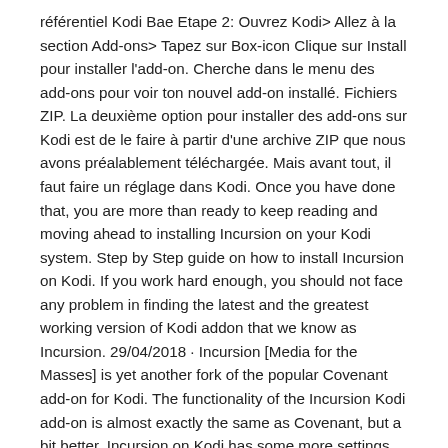référentiel Kodi Bae Etape 2: Ouvrez Kodi> Allez à la section Add-ons> Tapez sur Box-icon Clique sur Install pour installer l'add-on. Cherche dans le menu des add-ons pour voir ton nouvel add-on installé. Fichiers ZIP. La deuxième option pour installer des add-ons sur Kodi est de le faire à partir d'une archive ZIP que nous avons préalablement téléchargée. Mais avant tout, il faut faire un réglage dans Kodi. Once you have done that, you are more than ready to keep reading and moving ahead to installing Incursion on your Kodi system. Step by Step guide on how to install Incursion on Kodi. If you work hard enough, you should not face any problem in finding the latest and the greatest working version of Kodi addon that we know as Incursion. 29/04/2018 · Incursion [Media for the Masses] is yet another fork of the popular Covenant add-on for Kodi. The functionality of the Incursion Kodi add-on is almost exactly the same as Covenant, but a bit better. Incursion on Kodi has some more settings than Covenant didn't have. From January up until April 2018 (at the time of updating this post